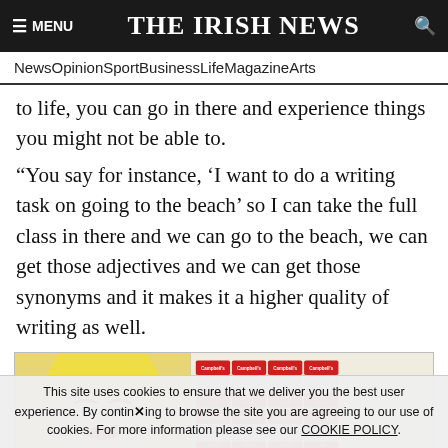≡ MENU   THE IRISH NEWS   🔍
News  Opinion  Sport  Business  Life  Magazine  Arts
to life, you can go in there and experience things you might not be able to.
“You say for instance, ‘I want to do a writing task on going to the beach’ so I can take the full class in there and we can go to the beach, we can get those adjectives and we can get those synonyms and it makes it a higher quality of writing as well.
[Figure (photo): Art exhibit showing Andy Warhol works: Marilyn Monroe colorful print on the left and Campbell's Soup Cans paintings on the right.]
This site uses cookies to ensure that we deliver you the best user experience. By continuing to browse the site you are agreeing to our use of cookies. For more information please see our COOKIE POLICY.